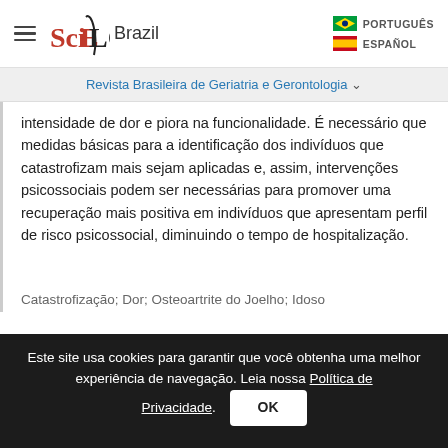[Figure (logo): SciELO Brazil logo with hamburger menu icon on left]
Revista Brasileira de Geriatria e Gerontologia ∨
intensidade de dor e piora na funcionalidade. É necessário que medidas básicas para a identificação dos indivíduos que catastrofizam mais sejam aplicadas e, assim, intervenções psicossociais podem ser necessárias para promover uma recuperação mais positiva em indivíduos que apresentam perfil de risco psicossocial, diminuindo o tempo de hospitalização.
Catastrofização; Dor; Osteoartrite do Joelho; Idoso
Este site usa cookies para garantir que você obtenha uma melhor experiência de navegação. Leia nossa Política de Privacidade.